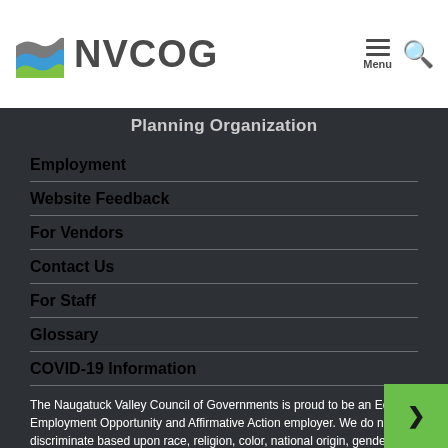NVCOG
Planning Organization
Employment
Website Feedback
For Vendors
Contact Us
For Staff
Glossary
COVID-19 Information
The Naugatuck Valley Council of Governments is proud to be an Equal Employment Opportunity and Affirmative Action employer. We do not discriminate based upon race, religion, color, national origin, gender (including pregnancy), sexual orientation, gender identity, gender expression, age, status as a protected veteran, status as an individual with a disability, or other applicable legal protected characteristics.